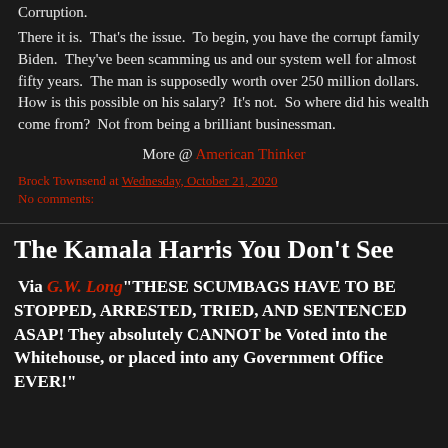Corruption.
There it is.  That's the issue.  To begin, you have the corrupt family Biden.  They've been scamming us and our system well for almost fifty years.  The man is supposedly worth over 250 million dollars.  How is this possible on his salary?  It's not.  So where did his wealth come from?  Not from being a brilliant businessman.
More @ American Thinker
Brock Townsend at Wednesday, October 21, 2020
No comments:
The Kamala Harris You Don't See
Via G.W. Long "THESE SCUMBAGS HAVE TO BE STOPPED, ARRESTED, TRIED, AND SENTENCED ASAP! They absolutely CANNOT be Voted into the Whitehouse, or placed into any Government Office EVER!"